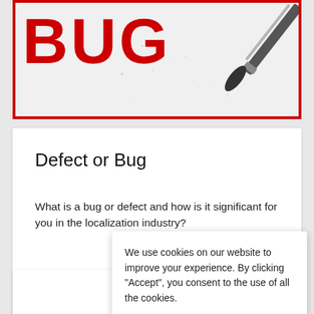[Figure (photo): Red-bordered image showing large red bold text 'BUG' on a white/light grey textured background with a black paint brush in the top-right corner]
Defect or Bug
What is a bug or defect and how is it significant for you in the localization industry?
Read more.
We use cookies on our website to improve your experience. By clicking “Accept”, you consent to the use of all the cookies.
Cookie settings   Accept